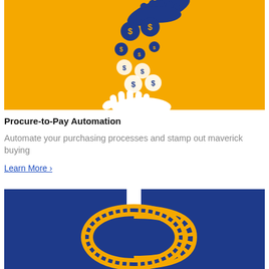[Figure (illustration): Yellow/orange background illustration showing a dark hand dropping coins with dollar signs, falling into an open white hand below, representing money transfer or payment]
Procure-to-Pay Automation
Automate your purchasing processes and stamp out maverick buying
Learn More ›
[Figure (illustration): Dark navy blue background illustration showing a yellow/gold conveyor belt or snake-shaped path forming a dollar sign (S-curve with a vertical bar), representing automated financial workflow]